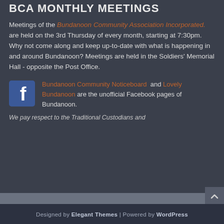BCA MONTHLY MEETINGS
Meetings of the Bundanoon Community Association Incorporated. are held on the 3rd Thursday of every month, starting at 7:30pm. Why not come along and keep up-to-date with what is happening in and around Bundanoon? Meetings are held in the Soldiers' Memorial Hall - opposite the Post Office.
Bundanoon Community Noticeboard and Lovely Bundanoon are the unofficial Facebook pages of Bundanoon.
We pay respect to the Traditional Custodians and
Designed by Elegant Themes | Powered by WordPress